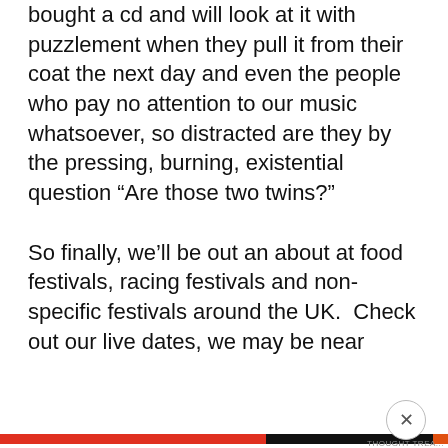bought a cd and will look at it with puzzlement when they pull it from their coat the next day and even the people who pay no attention to our music whatsoever, so distracted are they by the pressing, burning, existential question “Are those two twins?”

So finally, we’ll be out an about at food festivals, racing festivals and non-specific festivals around the UK.  Check out our live dates, we may be near
Privacy & Cookies: This site uses cookies. By continuing to use this website, you agree to their use. To find out more, including how to control cookies, see here: Cookie Policy
Close and accept